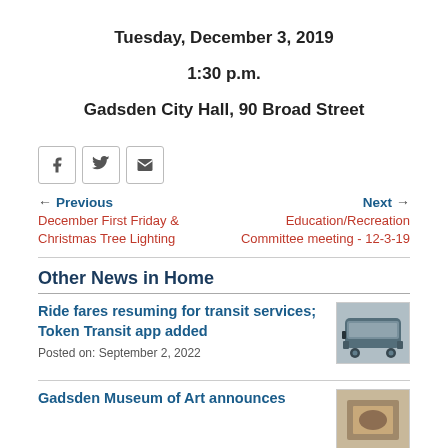Tuesday, December 3, 2019
1:30 p.m.
Gadsden City Hall, 90 Broad Street
[Figure (other): Social share buttons: Facebook, Twitter, Email]
← Previous
December First Friday & Christmas Tree Lighting
Next →
Education/Recreation Committee meeting - 12-3-19
Other News in Home
Ride fares resuming for transit services; Token Transit app added
Posted on: September 2, 2022
[Figure (photo): Photo of a transit bus in snowy conditions]
Gadsden Museum of Art announces
[Figure (photo): Photo thumbnail for museum article]